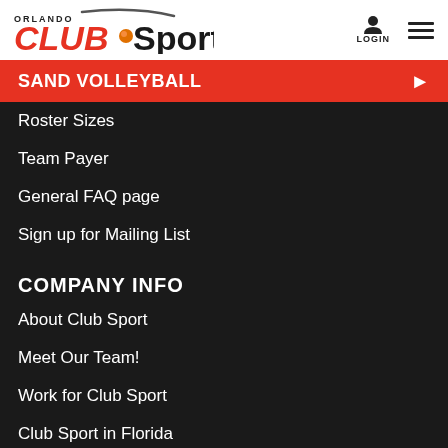ORLANDO CLUBSport — LOGIN / Menu
SAND VOLLEYBALL
Roster Sizes
Team Payer
General FAQ page
Sign up for Mailing List
COMPANY INFO
About Club Sport
Meet Our Team!
Work for Club Sport
Club Sport in Florida
Sponsorship Info
Facebook Sport Groups